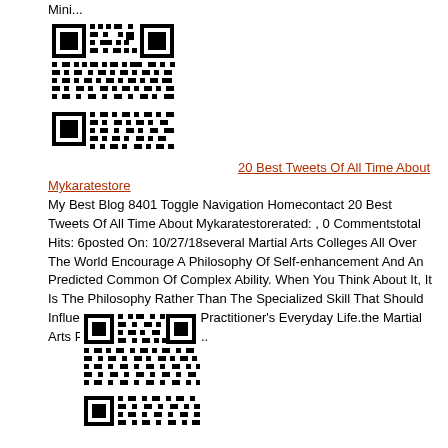Mini...
[Figure (other): QR code (first)]
20 Best Tweets Of All Time About Mykaratestore
My Best Blog 8401 Toggle Navigation Homecontact 20 Best Tweets Of All Time About Mykaratestorerated: , 0 Commentstotal Hits: 6posted On: 10/27/18several Martial Arts Colleges All Over The World Encourage A Philosophy Of Self-enhancement And An Predicted Common Of Complex Ability. When You Think About It, It Is The Philosophy Rather Than The Specialized Skill That Should Influence Each And Every Practitioner's Everyday Life.the Martial Arts Philosophy, Or A Mini...
[Figure (other): QR code (second)]